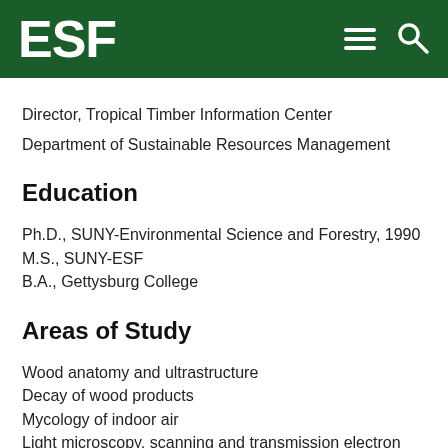ESF
Director, Tropical Timber Information Center
Department of Sustainable Resources Management
Education
Ph.D., SUNY-Environmental Science and Forestry, 1990
M.S., SUNY-ESF
B.A., Gettysburg College
Areas of Study
Wood anatomy and ultrastructure
Decay of wood products
Mycology of indoor air
Light microscopy, scanning and transmission electron